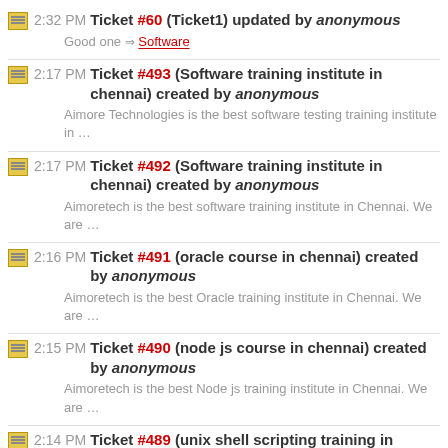2:32 PM Ticket #60 (Ticket1) updated by anonymous
Good one → Software
2:17 PM Ticket #493 (Software training institute in chennai) created by anonymous
Aimore Technologies is the best software testing training institute in …
2:17 PM Ticket #492 (Software training institute in chennai) created by anonymous
Aimoretech is the best software training institute in Chennai. We are …
2:16 PM Ticket #491 (oracle course in chennai) created by anonymous
Aimoretech is the best Oracle training institute in Chennai. We are …
2:15 PM Ticket #490 (node js course in chennai) created by anonymous
Aimoretech is the best Node js training institute in Chennai. We are …
2:14 PM Ticket #489 (unix shell scripting training in …